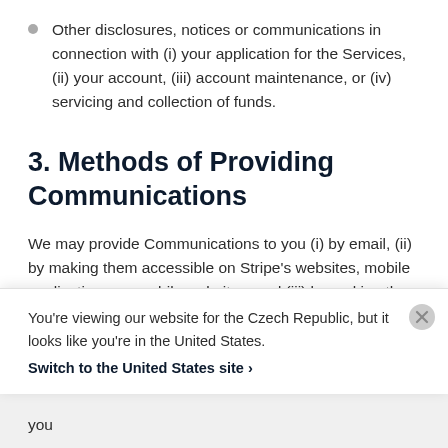Other disclosures, notices or communications in connection with (i) your application for the Services, (ii) your account, (iii) account maintenance, or (iv) servicing and collection of funds.
3. Methods of Providing Communications
We may provide Communications to you (i) by email, (ii) by making them accessible on Stripe's websites, mobile applications, or mobile websites, and (iii) by making them accessible through hyperlinks provided
You're viewing our website for the Czech Republic, but it looks like you're in the United States.
Switch to the United States site >
you